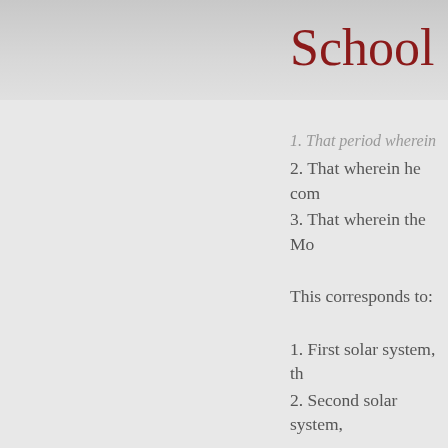School for
1. That period wherein
2. That wherein he com
3. That wherein the Mo
This corresponds to:
1. First solar system, th
2. Second solar system,
This is the astral-buddh
3. Third Solar System, achievement and libera
“The general theme of t first solar system; that s intelligence, expressing expression of the secon